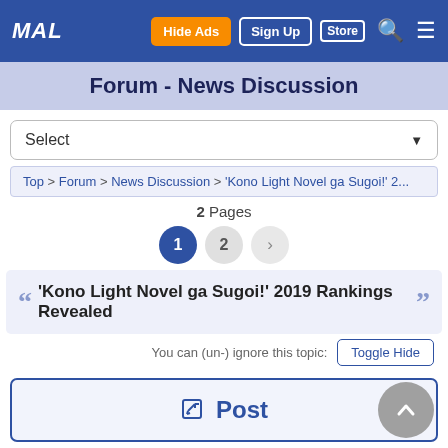MAL navigation bar with Hide Ads, Sign Up, Store, search, menu
Forum - News Discussion
Select
Top > Forum > News Discussion > 'Kono Light Novel ga Sugoi!' 2...
2 Pages
'Kono Light Novel ga Sugoi!' 2019 Rankings Revealed
You can (un-) ignore this topic: Toggle Hide
Post
Sakana-san
Nov 25, 2018, 12:18 PM
#1